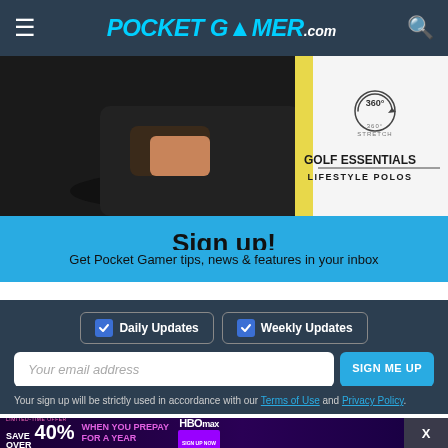POCKET GAMER.com
[Figure (photo): Advertisement photo showing a person in black clothing stretching/crouching, with text 'GOLF ESSENTIALS LIFESTYLE POLOS' and a '360° STRETCH' icon on the right side]
Sign up!
Get Pocket Gamer tips, news & features in your inbox
Daily Updates
Weekly Updates
Your email address
SIGN ME UP
Your sign up will be strictly used in accordance with our Terms of Use and Privacy Policy.
[Figure (infographic): HBO Max advertisement: LIMITED-TIME OFFER SAVE OVER 40% WHEN YOU PREPAY FOR A YEAR. Offer valid through 10/30/22. Savings based on the price of the yearly plan paid upfront compared to the price of the monthly plan paid over 12 months. Discount applies to first year only. Terms apply. For complete details, visit HBOMax.com.]